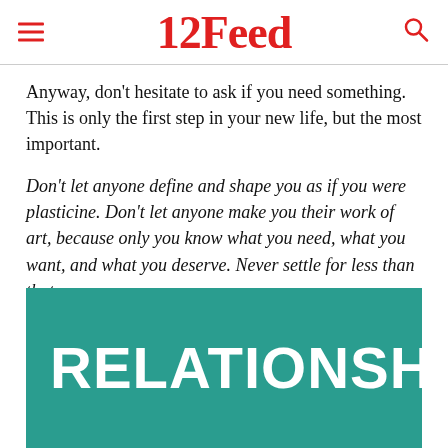12Feed
Anyway, don’t hesitate to ask if you need something. This is only the first step in your new life, but the most important.
Don’t let anyone define and shape you as if you were plasticine. Don’t let anyone make you their work of art, because only you know what you need, what you want, and what you deserve. Never settle for less than that.
[Figure (other): Teal/green banner image with large white bold text reading RELATIONSHIP]